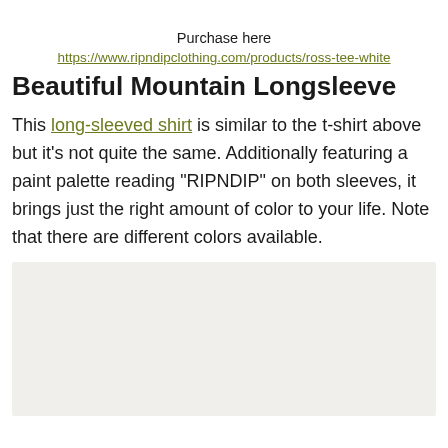Purchase here
https://www.ripndipclothing.com/products/ross-tee-white
Beautiful Mountain Longsleeve
This long-sleeved shirt is similar to the t-shirt above but it’s not quite the same. Additionally featuring a paint palette reading “RIPNDIP” on both sleeves, it brings just the right amount of color to your life. Note that there are different colors available.
[Figure (photo): Image placeholder area for the Beautiful Mountain Longsleeve product photo]